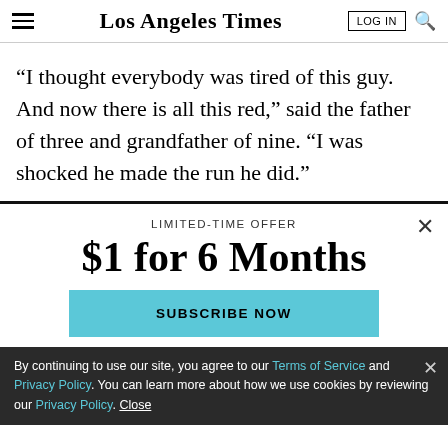Los Angeles Times
“I thought everybody was tired of this guy. And now there is all this red,” said the father of three and grandfather of nine. “I was shocked he made the run he did.”
LIMITED-TIME OFFER
$1 for 6 Months
SUBSCRIBE NOW
By continuing to use our site, you agree to our Terms of Service and Privacy Policy. You can learn more about how we use cookies by reviewing our Privacy Policy. Close